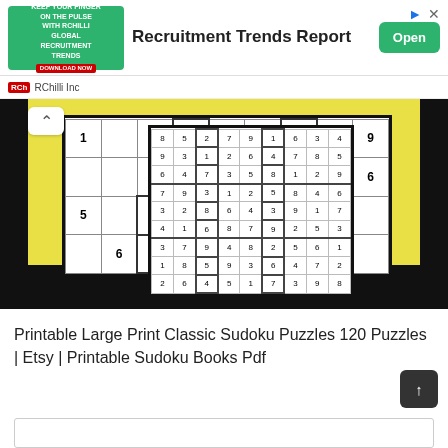[Figure (screenshot): Advertisement banner for Recruitment Trends Report by RChilli Inc with green image, title text and Open button]
[Figure (illustration): Sudoku puzzle book cover showing a completed 9x9 sudoku grid solution overlaid on a larger unsolved puzzle grid, yellow background with black borders, 'Amanda Kott' text at bottom]
Printable Large Print Classic Sudoku Puzzles 120 Puzzles | Etsy | Printable Sudoku Books Pdf